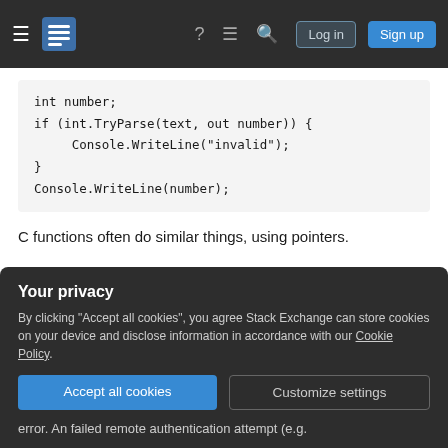Stack Exchange navigation bar with hamburger menu, logo, help, chat, search icons, Log in and Sign up buttons
[Figure (screenshot): Code block showing C# int.TryParse example]
C functions often do similar things, using pointers.
3. Errors in exceptional cases only
Your privacy
By clicking "Accept all cookies", you agree Stack Exchange can store cookies on your device and disclose information in accordance with our Cookie Policy.
Accept all cookies   Customize settings
error. An failed remote authentication attempt (e.g.